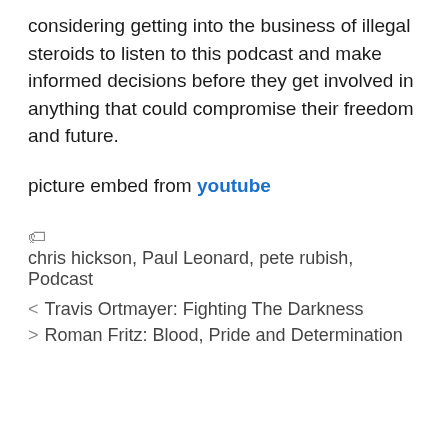considering getting into the business of illegal steroids to listen to this podcast and make informed decisions before they get involved in anything that could compromise their freedom and future.
picture embed from youtube
🏷 chris hickson, Paul Leonard, pete rubish, Podcast
< Travis Ortmayer: Fighting The Darkness
> Roman Fritz: Blood, Pride and Determination